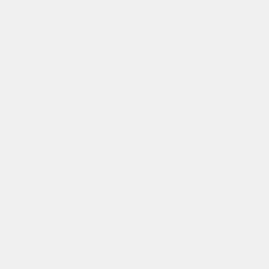with the never-bloomless furze, the Where Peace her jealous home dell, A patriot-race to disinherit Bath'd by the mist, is fresh and or the unripe flax, And with inex When, through its half-transpa taineer The level sunshine glimmers w light. blind, Oh! 'tis a quiet spirit-healing n love; but chiefly Are these thy bo The humble man, who, in his y of folly, as had made Yell in the b prey ; Here he might lic on fern or w singing-lark (that sing From free And from the Sun, and from th